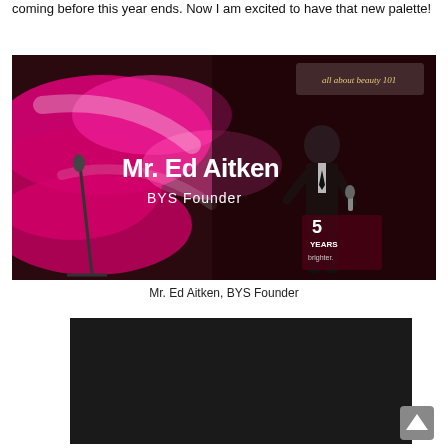coming before this year ends. Now I am excited to have that new palette!
[Figure (photo): Mr. Ed Aitken, BYS Founder, standing at a podium with a microphone against a vivid pink and dark red brush-stroke backdrop display showing his name and title. A watermark 'all about beauty 101' is visible in the top right corner.]
Mr. Ed Aitken, BYS Founder
[Figure (photo): Partially visible dark/black photo at the bottom of the page.]